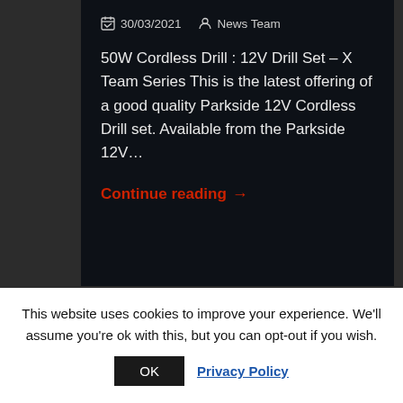30/03/2021   News Team
50W Cordless Drill : 12V Drill Set – X Team Series This is the latest offering of a good quality Parkside 12V Cordless Drill set. Available from the Parkside 12V…
Continue reading →
This website uses cookies to improve your experience. We'll assume you're ok with this, but you can opt-out if you wish.
OK   Privacy Policy